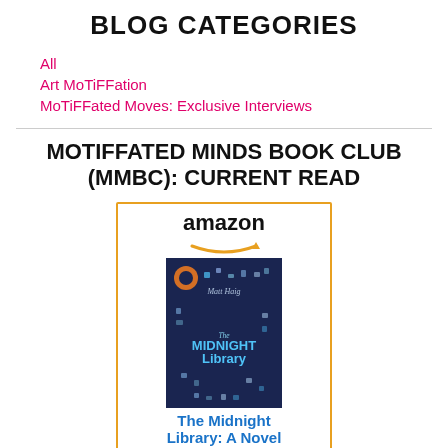BLOG CATEGORIES
All
Art MoTiFFation
MoTiFFated Moves: Exclusive Interviews
MOTIFFATED MINDS BOOK CLUB (MMBC): CURRENT READ
[Figure (other): Amazon product widget showing the book 'The Midnight Library: A Novel' by Matt Haig, with Amazon logo and orange arrow, book cover displayed]
The Midnight Library: A Novel